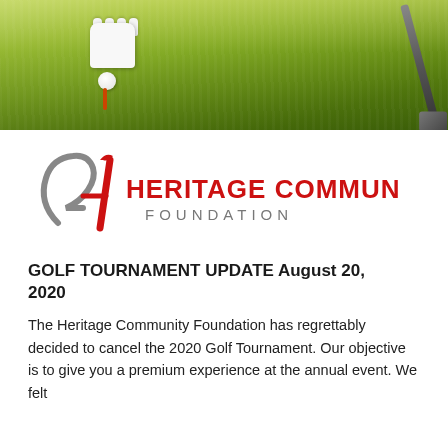[Figure (photo): Golf photo banner showing a golf ball on an orange tee being held by a white glove, with a golf iron club in the background, on green grass]
[Figure (logo): Heritage Community Foundation logo with stylized H/F letterform in gray and red, and the text HERITAGE COMMUNITY FOUNDATION in red and gray]
GOLF TOURNAMENT UPDATE August 20, 2020
The Heritage Community Foundation has regrettably decided to cancel the 2020 Golf Tournament. Our objective is to give you a premium experience at the annual event. We felt that this could not be accomplished during the current pandemic.